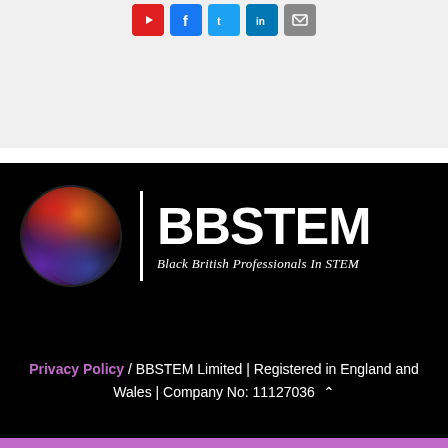[Figure (logo): Social media icon buttons: YouTube (red), Facebook (blue), Twitter (light blue), LinkedIn (dark blue), Email (grey)]
[Figure (logo): BBSTEM logo: colourful sphere on left, vertical white divider, then BBSTEM in large white bold text with tagline 'Black British Professionals In STEM' beneath]
Privacy Policy / BBSTEM Limited | Registered in England and Wales | Company No: 11127036